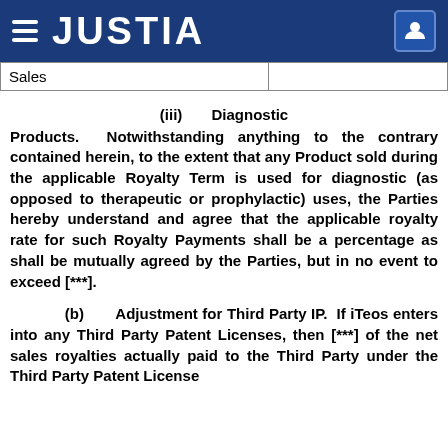JUSTIA
| Sales |  |
(iii)      Diagnostic Products.  Notwithstanding anything to the contrary contained herein, to the extent that any Product sold during the applicable Royalty Term is used for diagnostic (as opposed to therapeutic or prophylactic) uses, the Parties hereby understand and agree that the applicable royalty rate for such Royalty Payments shall be a percentage as shall be mutually agreed by the Parties, but in no event to exceed [***].
(b)      Adjustment for Third Party IP.  If iTeos enters into any Third Party Patent Licenses, then [***] of the net sales royalties actually paid to the Third Party under the Third Party Patent License